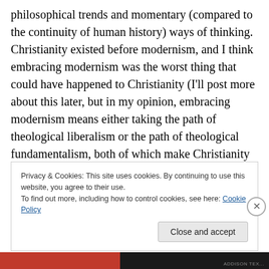philosophical trends and momentary (compared to the continuity of human history) ways of thinking.  Christianity existed before modernism, and I think embracing modernism was the worst thing that could have happened to Christianity (I'll post more about this later, but in my opinion, embracing modernism means either taking the path of theological liberalism or the path of theological fundamentalism, both of which make Christianity look foolish).  At the same time, I have no real confidence that people won't say the same thing about postmodernism in a few hundred years.  Postmodernism may be a new way
Privacy & Cookies: This site uses cookies. By continuing to use this website, you agree to their use.
To find out more, including how to control cookies, see here: Cookie Policy
Close and accept